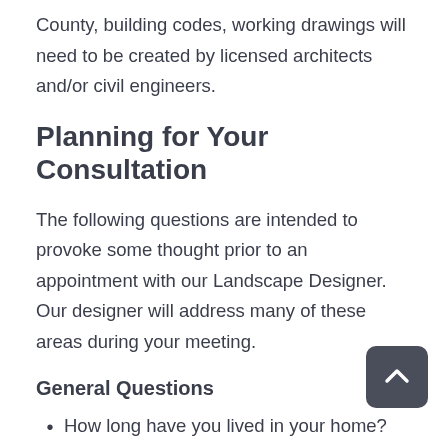County, building codes, working drawings will need to be created by licensed architects and/or civil engineers.
Planning for Your Consultation
The following questions are intended to provoke some thought prior to an appointment with our Landscape Designer. Our designer will address many of these areas during your meeting.
General Questions
How long have you lived in your home? How long do you anticipate living here?